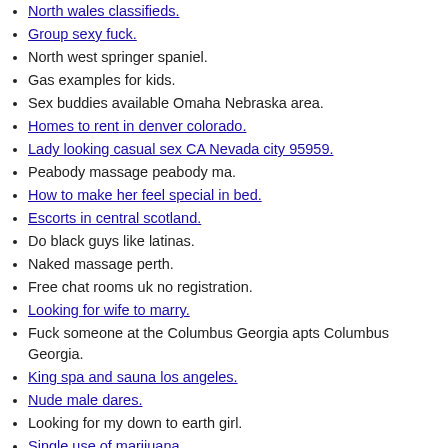North wales classifieds.
Group sexy fuck.
North west springer spaniel.
Gas examples for kids.
Sex buddies available Omaha Nebraska area.
Homes to rent in denver colorado.
Lady looking casual sex CA Nevada city 95959.
Peabody massage peabody ma.
How to make her feel special in bed.
Escorts in central scotland.
Do black guys like latinas.
Naked massage perth.
Free chat rooms uk no registration.
Looking for wife to marry.
Fuck someone at the Columbus Georgia apts Columbus Georgia.
King spa and sauna los angeles.
Nude male dares.
Looking for my down to earth girl.
Single use of marijuana.
Login pof dating site.
Flats to rent in yeadon.
Men looking for overweight women.
Thai massage union city ca.
Old Time Photos in Myrtle Beach, SC.